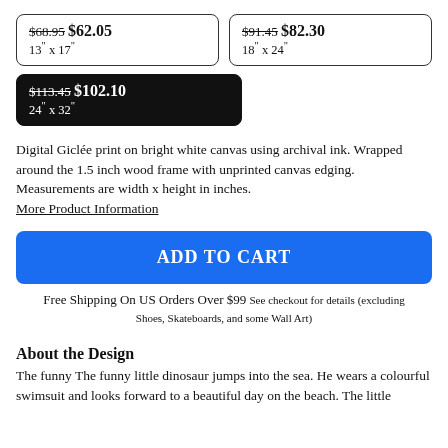$68.95 $62.05
13" x 17"
$91.45 $82.30
18" x 24"
$113.45 $102.10
24" x 32"
Digital Giclée print on bright white canvas using archival ink. Wrapped around the 1.5 inch wood frame with unprinted canvas edging. Measurements are width x height in inches.
More Product Information
ADD TO CART
Free Shipping On US Orders Over $99 See checkout for details (excluding Shoes, Skateboards, and some Wall Art)
About the Design
The funny The funny little dinosaur jumps into the sea. He wears a colourful swimsuit and looks forward to a beautiful day on the beach. The little...